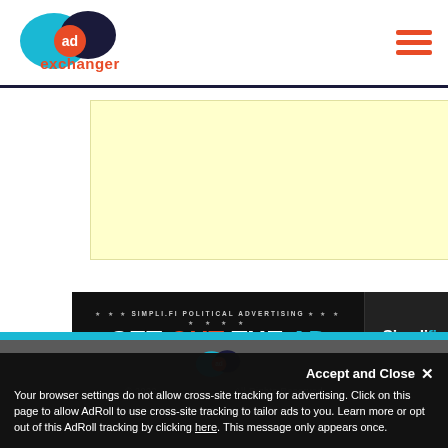AdExchanger logo and navigation menu
[Figure (other): Yellow advertisement banner placeholder]
[Figure (other): Simpli.fi Political Advertising banner: GET OUT THE AD - Download Our Political Data Onboarding Guide]
AdExchanger footer with logo, copyright 2022, All Rights Reserved
Accept and Close ×
Your browser settings do not allow cross-site tracking for advertising. Click on this page to allow AdRoll to use cross-site tracking to tailor ads to you. Learn more or opt out of this AdRoll tracking by clicking here. This message only appears once.